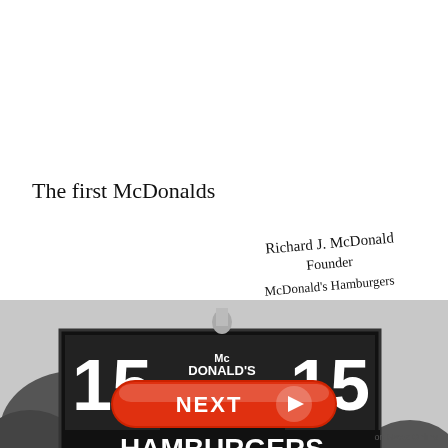The first McDonalds
[Figure (photo): Handwritten signature reading 'Richard J. McDonald, Founder, McDonald's Hamburgers']
[Figure (photo): Black and white photo of the first McDonald's restaurant sign showing '15 cents, McDonald's Famous Hamburgers, Buy 'Em by the Bag' with a figure on top]
[Figure (other): Red NEXT button with arrow, labeled 'on Newz Online']